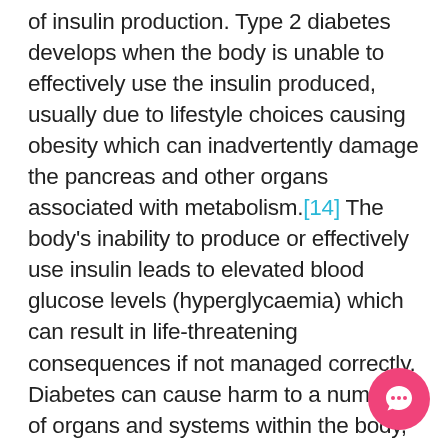of insulin production. Type 2 diabetes develops when the body is unable to effectively use the insulin produced, usually due to lifestyle choices causing obesity which can inadvertently damage the pancreas and other organs associated with metabolism.[14] The body's inability to produce or effectively use insulin leads to elevated blood glucose levels (hyperglycaemia) which can result in life-threatening consequences if not managed correctly. Diabetes can cause harm to a number of organs and systems within the body, but what is less commonly recognised is the risk that diabetes poses to oral health.[15] Periodontal disease is